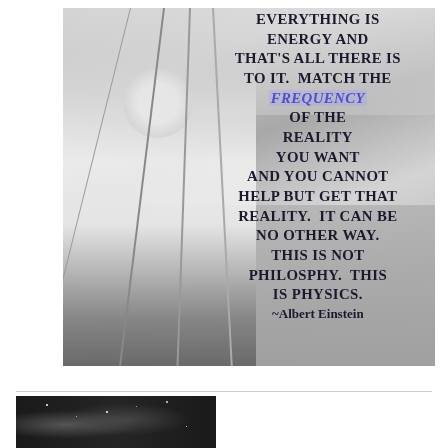[Figure (photo): Black and white photograph of Albert Einstein on a sailboat with ropes/rigging visible, overlaid with a motivational quote in dark navy bold uppercase text. The word FREQUENCY is highlighted in blue/purple. The quote reads: 'Everything is energy and that's all there is to it. Match the FREQUENCY of the reality you want and you cannot help but get that reality. It can be no other way. This is not philosphy. This is physics. ~Albert Einstein']
[Figure (photo): Partial dark/nighttime image visible at the very bottom of the page, appears to be a cosmic or night sky photograph, only partially visible.]